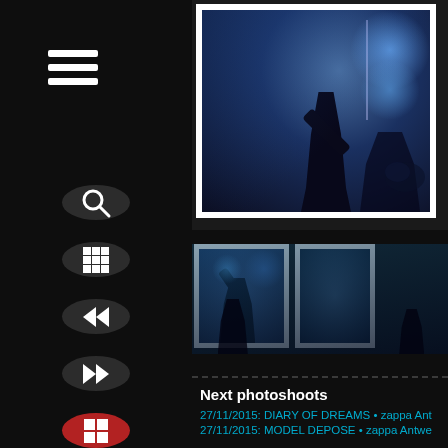[Figure (other): Hamburger/menu icon — three white horizontal bars]
[Figure (other): Search icon — magnifying glass on dark circular button]
[Figure (other): Grid/gallery icon — 3x3 grid on dark circular button]
[Figure (other): Rewind/back icon — double left arrows on dark circular button]
[Figure (other): Fast-forward icon — double right arrows on dark circular button]
[Figure (other): Grid/gallery icon — 2x2 grid on red circular button]
[Figure (photo): Main large concert photo: performer on stage in blue lighting, drummer visible in background, white photo frame border]
[Figure (photo): Thumbnail concert photo 1: singer performing with microphone in blue light, white frame]
[Figure (photo): Thumbnail concert photo 2: band members on stage in blue/teal lighting, white frame, partially cropped]
Next photoshoots
27/11/2015: DIARY OF DREAMS • zappa Ant
27/11/2015: MODEL DEPOSE • zappa Antwe